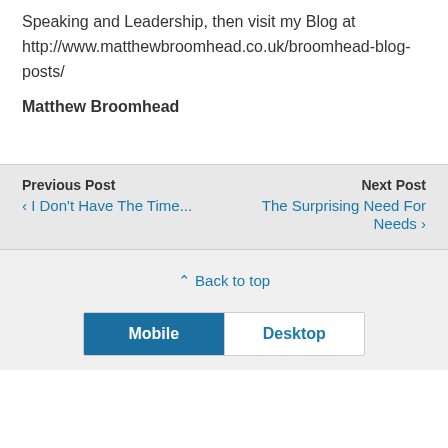Speaking and Leadership, then visit my Blog at http://www.matthewbroomhead.co.uk/broomhead-blog-posts/
Matthew Broomhead
Previous Post
‹ I Don't Have The Time...
Next Post
The Surprising Need For Needs ›
⇧ Back to top
Mobile  Desktop